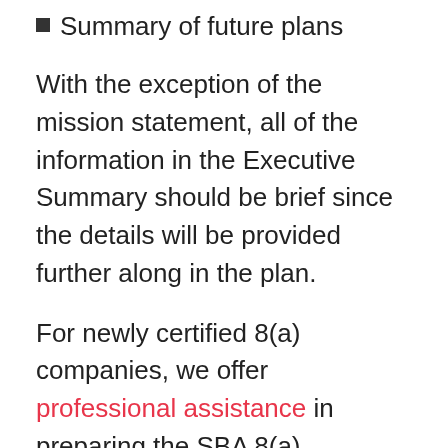Summary of future plans
With the exception of the mission statement, all of the information in the Executive Summary should be brief since the details will be provided further along in the plan.
For newly certified 8(a) companies, we offer professional assistance in preparing the SBA 8(a) Business Plan or sample 8(a) Business Plans in the area’s of Information Technology, Engineering, Management Consulting, Construction and related trades and Janitorial Services.